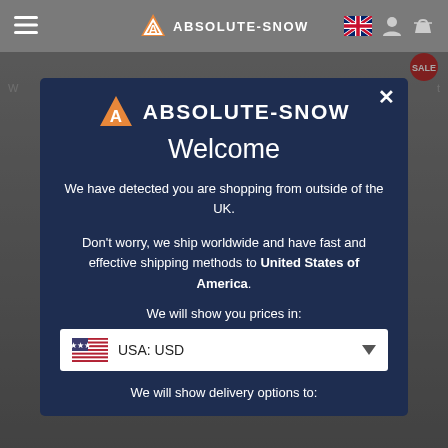ABSOLUTE-SNOW
[Figure (screenshot): Absolute-Snow website modal popup showing a geo-detection welcome message for international shoppers, with currency selector set to USA: USD]
Welcome
We have detected you are shopping from outside of the UK.
Don't worry, we ship worldwide and have fast and effective shipping methods to United States of America.
We will show you prices in:
USA: USD
We will show delivery options to: